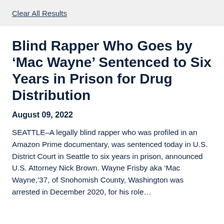Clear All Results
Blind Rapper Who Goes by ‘Mac Wayne’ Sentenced to Six Years in Prison for Drug Distribution
August 09, 2022
SEATTLE – A legally blind rapper who was profiled in an Amazon Prime documentary, was sentenced today in U.S. District Court in Seattle to six years in prison, announced U.S. Attorney Nick Brown. Wayne Frisby aka ‘Mac Wayne,’37, of Snohomish County, Washington was arrested in December 2020, for his role…